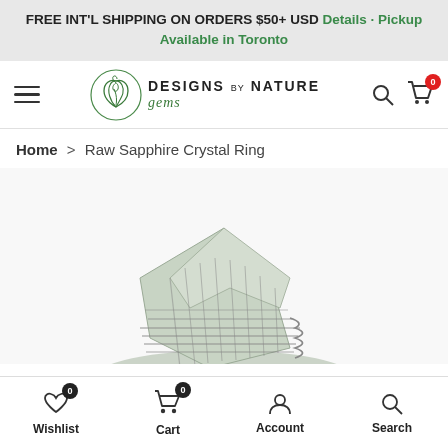FREE INT'L SHIPPING ON ORDERS $50+ USD Details · Pickup Available in Toronto
[Figure (logo): Designs by Nature Gems logo with spiral leaf icon]
Home > Raw Sapphire Crystal Ring
[Figure (photo): Close-up photo of a raw sapphire crystal wire-wrapped ring with silver wire]
Wishlist 0 | Cart 0 | Account | Search